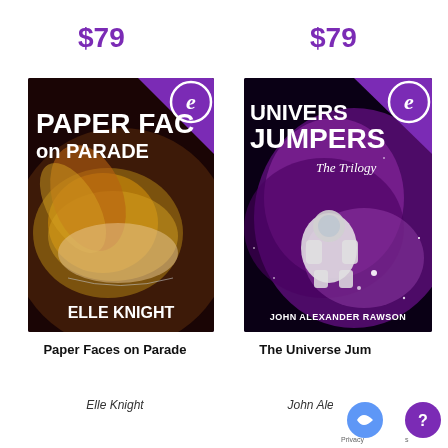$79
$79
[Figure (illustration): Book cover for 'Paper Faces on Parade' by Elle Knight. Dark background with ornate golden masquerade mask held in hands. Purple triangle in top-right corner with 'e' logo circle. White bold uppercase title text.]
[Figure (illustration): Book cover for 'Universe Jumpers: The Trilogy' by John Alexander Rawson. Purple galaxy nebula space background with astronaut floating. Purple triangle in top-right corner with 'e' logo circle.]
Paper Faces on Parade
The Universe Jum...
Elle Knight
John Alexander